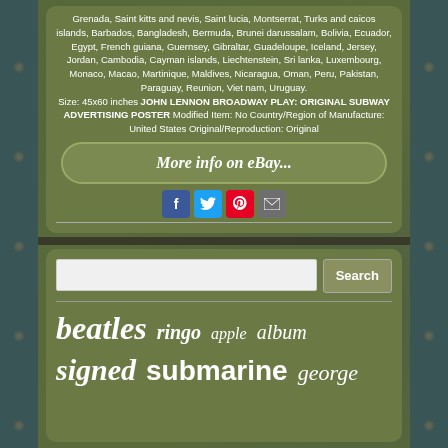Grenada, Saint kitts and nevis, Saint lucia, Montserrat, Turks and caicos islands, Barbados, Bangladesh, Bermuda, Brunei darussalam, Bolivia, Ecuador, Egypt, French guiana, Guernsey, Gibraltar, Guadeloupe, Iceland, Jersey, Jordan, Cambodia, Cayman islands, Liechtenstein, Sri lanka, Luxembourg, Monaco, Macao, Martinique, Maldives, Nicaragua, Oman, Peru, Pakistan, Paraguay, Reunion, Viet nam, Uruguay. Size: 45x60 inches JOHN LENNON BROADWAY PLAY: ORIGINAL SUBWAY ADVERTISING POSTER Modified Item: No Country/Region of Manufacture: United States Original/Reproduction: Original
[Figure (screenshot): eBay button with text 'More info on eBay...']
[Figure (infographic): Social media sharing icons: Facebook (blue), Twitter (light blue), Pinterest (red), Email (grey)]
[Figure (screenshot): Search box with text input field and Search button]
beatles ringo apple album signed submarine george